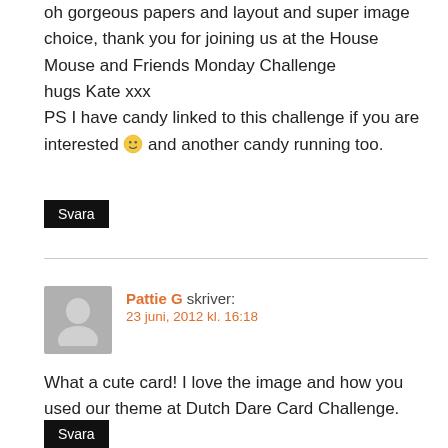oh gorgeous papers and layout and super image choice, thank you for joining us at the House Mouse and Friends Monday Challenge
hugs Kate xxx
PS I have candy linked to this challenge if you are interested 🙂 and another candy running too.
Svara
Pattie G skriver:
23 juni, 2012 kl. 16:18
What a cute card! I love the image and how you used our theme at Dutch Dare Card Challenge.
Hugs
Pattie ♥
Svara